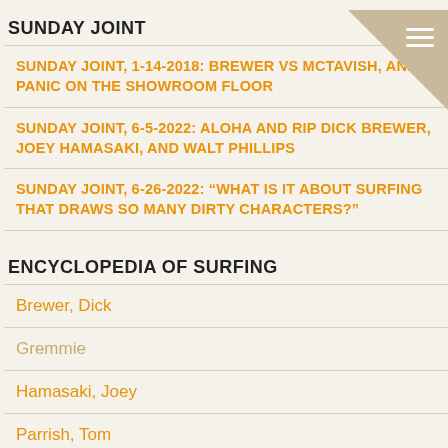SUNDAY JOINT
SUNDAY JOINT, 1-14-2018: BREWER VS MCTAVISH, AND PANIC ON THE SHOWROOM FLOOR
SUNDAY JOINT, 6-5-2022: ALOHA AND RIP DICK BREWER, JOEY HAMASAKI, AND WALT PHILLIPS
SUNDAY JOINT, 6-26-2022: “WHAT IS IT ABOUT SURFING THAT DRAWS SO MANY DIRTY CHARACTERS?”
ENCYCLOPEDIA OF SURFING
Brewer, Dick
Gremmie
Hamasaki, Joey
Parrish, Tom